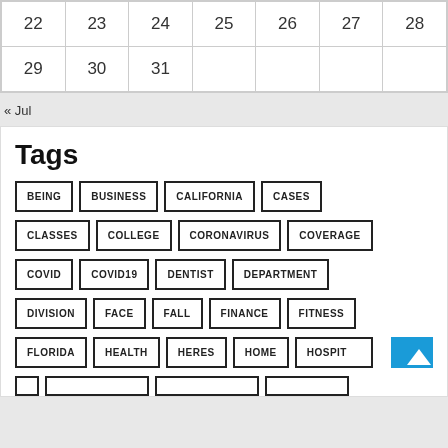| 22 | 23 | 24 | 25 | 26 | 27 | 28 |
| 29 | 30 | 31 |  |  |  |  |
« Jul
Tags
BEING
BUSINESS
CALIFORNIA
CASES
CLASSES
COLLEGE
CORONAVIRUS
COVERAGE
COVID
COVID19
DENTIST
DEPARTMENT
DIVISION
FACE
FALL
FINANCE
FITNESS
FLORIDA
HEALTH
HERES
HOME
HOSPITAL